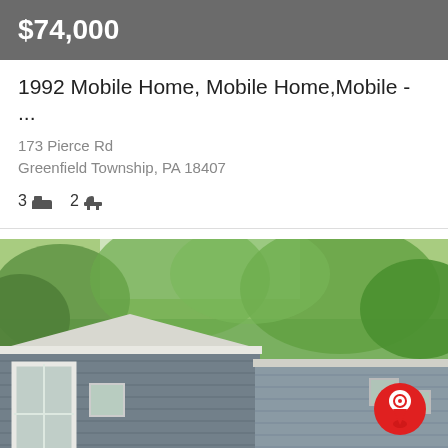$74,000
1992 Mobile Home, Mobile Home,Mobile - ...
173 Pierce Rd
Greenfield Township, PA 18407
3 bed  2 bath
[Figure (photo): Exterior photo of a gray mobile home with white trim and roof, surrounded by green trees. A red map pin icon is visible in the upper right of the photo.]